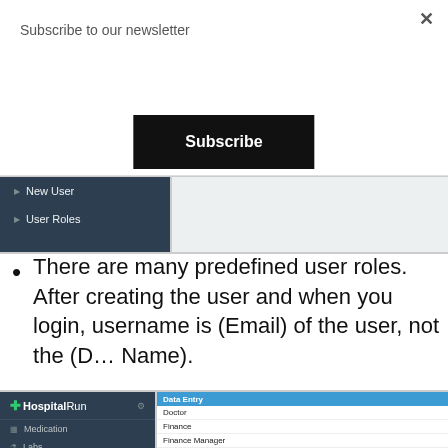Subscribe to our newsletter
[Figure (screenshot): Subscribe button on dark background]
[Figure (screenshot): HospitalRun sidebar showing New User and User Roles menu items]
There are many predefined user roles. After creating the user and when you login, username is (Email) of the user, not the (Display Name).
[Figure (screenshot): HospitalRun application showing user roles dropdown: Data Entry, Doctor, Finance, Finance Manager, Hospital Administrator, Inventory Manager, Imaging Technician, Lab Technician, Medical Records Officer, Nurse, Nurse Manager, Patient Administration, Pharmacist, Social Worker, System Administrator, User Administrator]